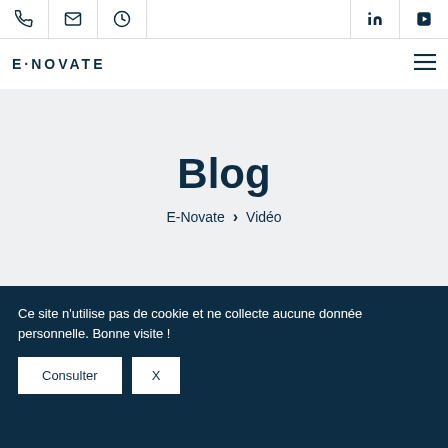E-Novate navigation bar with phone, email, clock, LinkedIn, YouTube icons and hamburger menu
Blog
E-Novate > Vidéo
Ce site n'utilise pas de cookie et ne collecte aucune donnée personnelle. Bonne visite !
Consulter  X